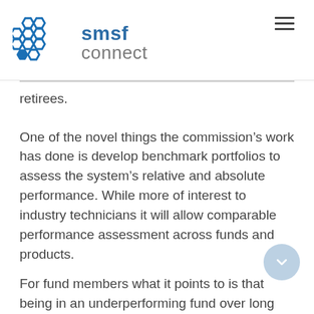smsf connect
retirees.
One of the novel things the commission’s work has done is develop benchmark portfolios to assess the system’s relative and absolute performance. While more of interest to industry technicians it will allow comparable performance assessment across funds and products.
For fund members what it points to is that being in an underperforming fund over long time periods really hurts. The commission’s analysis shows that for a typical full-time worker being in a fund that underperforms